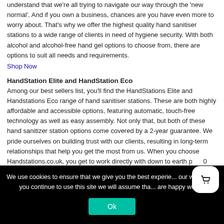understand that we're all trying to navigate our way through the 'new normal'. And if you own a business, chances are you have even more to worry about. That's why we offer the highest quality hand sanitiser stations to a wide range of clients in need of hygiene security. With both alcohol and alcohol-free hand gel options to choose from, there are options to suit all needs and requirements.
Shop Now
HandStation Elite and HandStation Eco
Among our best sellers list, you'll find the HandStations Elite and Handstations Eco range of hand sanitiser stations. These are both highly affordable and accessible options, featuring automatic, touch-free technology as well as easy assembly. Not only that, but both of these hand sanitizer station options come covered by a 2-year guarantee. We pride ourselves on building trust with our clients, resulting in long-term relationships that help you get the most from us. When you choose Handstations.co.uk, you get to work directly with down to earth people who love what they do. Discover our HandStation Elite and HandStation Eco options today.
We use cookies to ensure that we give you the best experience on our website. If you continue to use this site we will assume that you are happy with it.